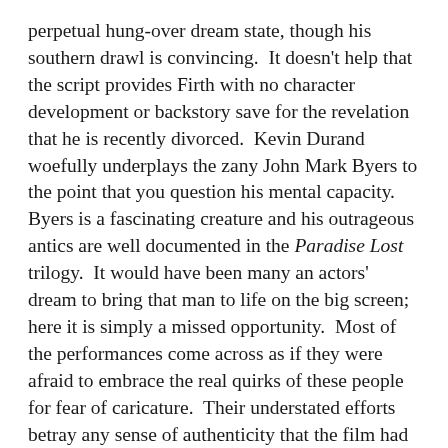perpetual hung-over dream state, though his southern drawl is convincing.  It doesn't help that the script provides Firth with no character development or backstory save for the revelation that he is recently divorced.  Kevin Durand woefully underplays the zany John Mark Byers to the point that you question his mental capacity.  Byers is a fascinating creature and his outrageous antics are well documented in the Paradise Lost trilogy.  It would have been many an actors' dream to bring that man to life on the big screen; here it is simply a missed opportunity.  Most of the performances come across as if they were afraid to embrace the real quirks of these people for fear of caricature.  Their understated efforts betray any sense of authenticity that the film had to offer.
The three young actors cast to play Echols (James Hamrick), Baldwin (Seth Meriwether), and Misskelley (Kristopher Higgins) come off the best in their performances.  No, they aren't given any more screen time than their acting counterparts, but they certainly look the part and portray the